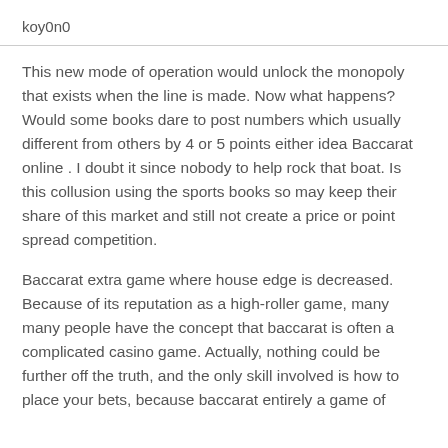koy0n0
This new mode of operation would unlock the monopoly that exists when the line is made. Now what happens? Would some books dare to post numbers which usually different from others by 4 or 5 points either idea Baccarat online . I doubt it since nobody to help rock that boat. Is this collusion using the sports books so may keep their share of this market and still not create a price or point spread competition.
Baccarat extra game where house edge is decreased. Because of its reputation as a high-roller game, many many people have the concept that baccarat is often a complicated casino game. Actually, nothing could be further off the truth, and the only skill involved is how to place your bets, because baccarat entirely a game of